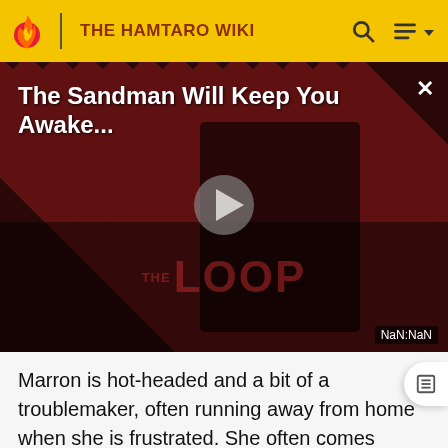THE HAMTARO WIKI
[Figure (screenshot): Video player thumbnail showing a dark-themed promotional image with diagonal stripe background. Title reads 'The Sandman Will Keep You Awake...' with a play button in the center. 'THE LOOP' watermark visible at the bottom. Timer shows NaN:NaN.]
Marron is hot-headed and a bit of a troublemaker, often running away from home when she is frustrated. She often comes across as stubborn and proud, and doesn't like to admit she's wrong.
She is a bit self-conscious, and perhaps embarrasses